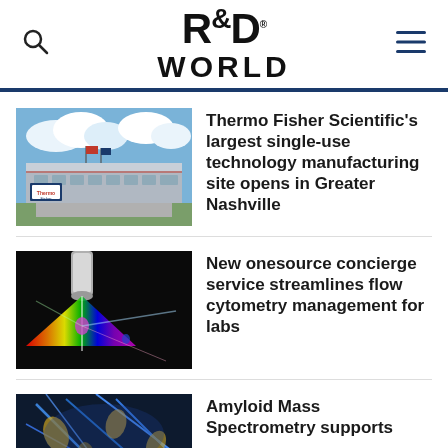R&D WORLD
[Figure (photo): Thermo Fisher Scientific manufacturing facility building exterior, large industrial building with signage]
Thermo Fisher Scientific's largest single-use technology manufacturing site opens in Greater Nashville
[Figure (photo): Flow cytometry laser beam scientific image showing rainbow light spectrum and particles]
New onesource concierge service streamlines flow cytometry management for labs
[Figure (photo): Microscopic image of amyloid structures in blue and gold tones]
Amyloid Mass Spectrometry supports